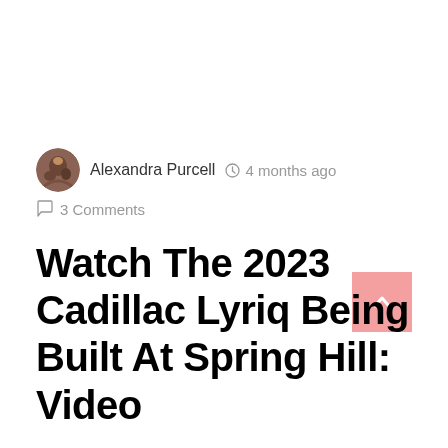Alexandra Purcell   4 months ago   3 Comments
Watch The 2023 Cadillac Lyriq Being Built At Spring Hill: Video